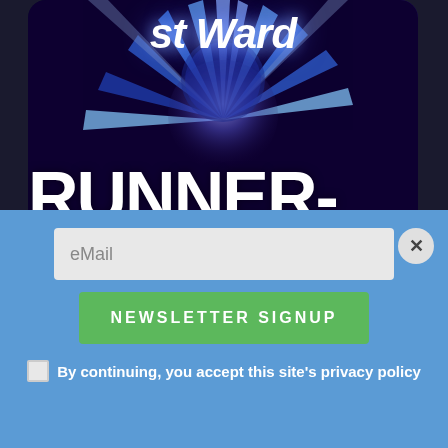[Figure (illustration): Award banner image showing 'RUNNER-UP' text in large white bold font against a dark purple/blue starburst background, with partial text at top]
2016
'Til Death Do Us Part
[Figure (photo): Partial photo of a man's face (forehead and eyes visible) against a dark background with colorful banner]
eMail
NEWSLETTER SIGNUP
By continuing, you accept this site's privacy policy